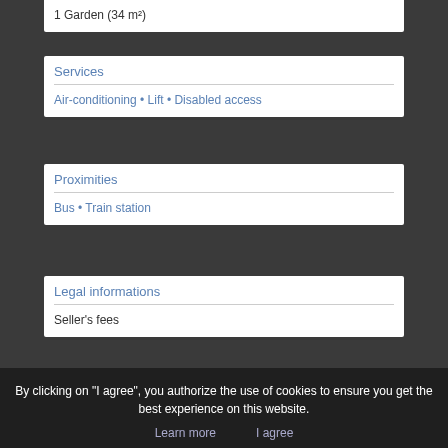1 Garden (34 m²)
Services
Air-conditioning • Lift • Disabled access
Proximities
Bus • Train station
Legal informations
Seller's fees
By clicking on "I agree", you authorize the use of cookies to ensure you get the best experience on this website.
Learn more    I agree